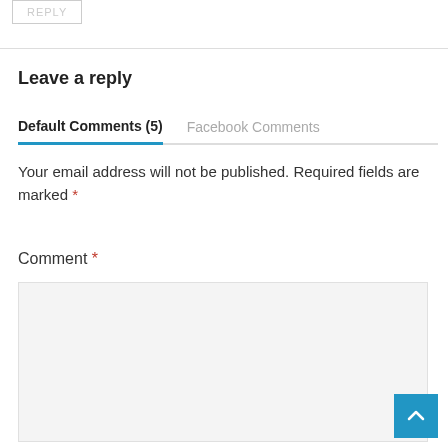REPLY
Leave a reply
Default Comments (5)   Facebook Comments
Your email address will not be published. Required fields are marked *
Comment *